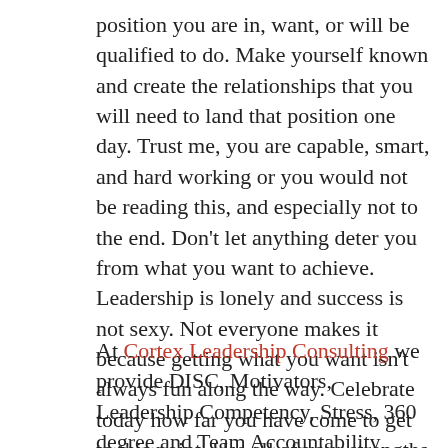position you are in, want, or will be qualified to do.  Make yourself known and create the relationships that you will need to land that position one day.  Trust me, you are capable, smart, and hard working or you would not be reading this, and especially not to the end.  Don't let anything deter you from what you want to achieve.  Leadership is lonely and success is not sexy.  Not everyone makes it because getting what you want isn't always fun along the way.  Celebrate today how far you have come to get to this point.  Use all of your strengths and those of others to build your success one day at a time.
At Cortex Leadership Consulting  we provide DISC, Motivators, Leadership Competency, Stress, 360 degree and Team Accountability assessments along with workshops and